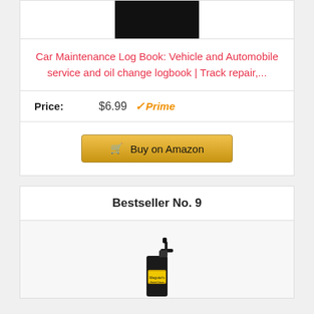[Figure (photo): Black product image (book cover, dark/black rectangle)]
Car Maintenance Log Book: Vehicle and Automobile service and oil change logbook | Track repair,...
Price: $6.99 Prime
Buy on Amazon
Bestseller No. 9
[Figure (photo): Meguiar's Gold Class leather spray bottle product photo]